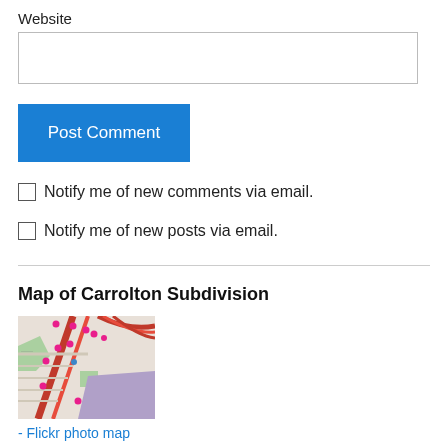Website
Post Comment
Notify me of new comments via email.
Notify me of new posts via email.
Map of Carrolton Subdivision
[Figure (map): Map of Carrolton Subdivision showing streets, buildings, and pink location markers on an OpenStreetMap-style tile.]
- Flickr photo map